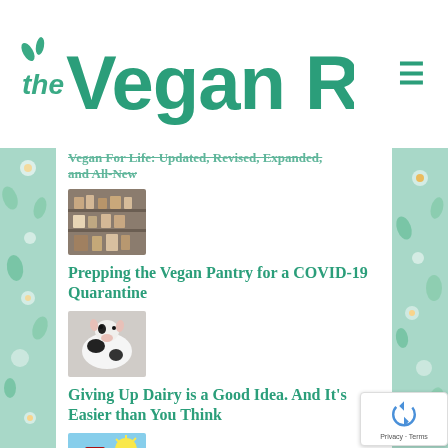the Vegan RD
Vegan For Life: Updated, Revised, Expanded, and All-New
[Figure (photo): Thumbnail image of pantry shelves with food items]
Prepping the Vegan Pantry for a COVID-19 Quarantine
[Figure (photo): Thumbnail image of a dairy cow]
Giving Up Dairy is a Good Idea. And It's Easier than You Think
[Figure (photo): Thumbnail image of a vitamin D supplement bottle with sunny sky]
Five Things to Know About...